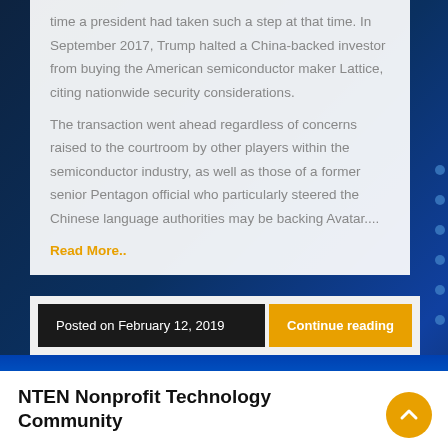time a president had taken such a step at that time. In September 2017, Trump halted a China-backed investor from buying the American semiconductor maker Lattice, citing nationwide security considerations.
The transaction went ahead regardless of concerns raised to the courtroom by other players within the semiconductor industry, as well as those of a former senior Pentagon official who particularly steered the Chinese language authorities may be backing Avatar....
Read More..
Posted on February 12, 2019
Continue reading
NTEN Nonprofit Technology Community